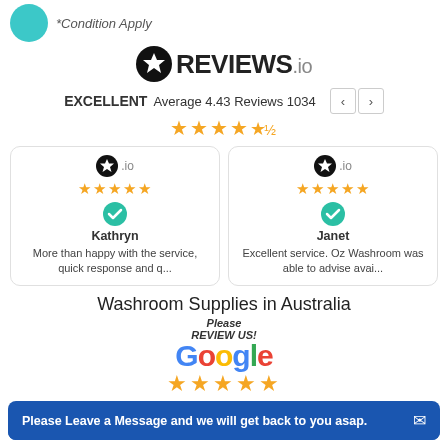*Condition Apply
[Figure (logo): REVIEWS.io logo with star icon]
EXCELLENT Average 4.43 Reviews 1034
[Figure (other): 4.5 star rating display in orange]
[Figure (other): Review card for Kathryn - 5 stars - More than happy with the service, quick response and q...]
[Figure (other): Review card for Janet - 5 stars - Excellent service. Oz Washroom was able to advise avai...]
Washroom Supplies in Australia
[Figure (logo): Google Review Us logo with 5 gold stars]
OzWashroom is an online retailer and wholesaler of washroom accessories. We provide the best quality products at very reaso... guara...
Please Leave a Message and we will get back to you asap.